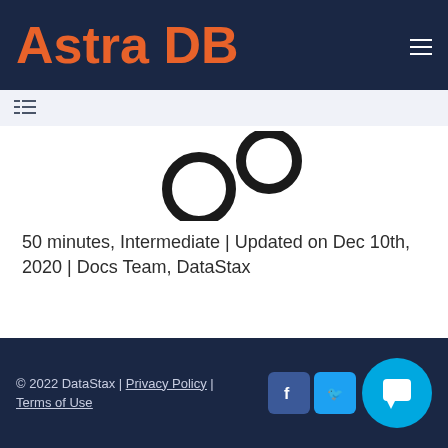Astra DB
50 minutes, Intermediate | Updated on Dec 10th, 2020 | Docs Team, DataStax
Prev Build sample apps
Next Connect with DataGrip
© 2022 DataStax | Privacy Policy | Terms of Use